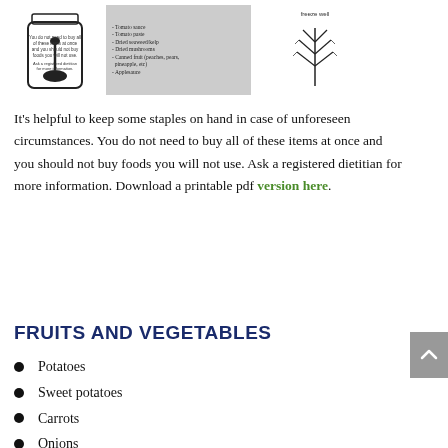[Figure (illustration): Top strip showing a mason jar illustration with text, a grey box with a list of pantry items including tomato sauce, tomato paste, dried seaweed/kelp, dried mushrooms, canned fruit, applesauce, and a leaf/plant illustration on the right. Also text 'freeze well' appears near the leaf.]
It's helpful to keep some staples on hand in case of unforeseen circumstances. You do not need to buy all of these items at once and you should not buy foods you will not use. Ask a registered dietitian for more information. Download a printable pdf version here.
FRUITS AND VEGETABLES
Potatoes
Sweet potatoes
Carrots
Onions